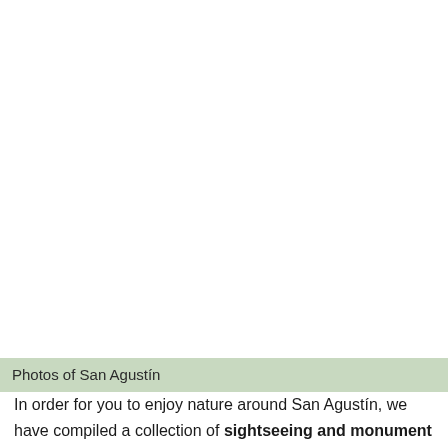Photos of San Agustín
In order for you to enjoy nature around San Agustín, we have compiled a collection of sightseeing and monument